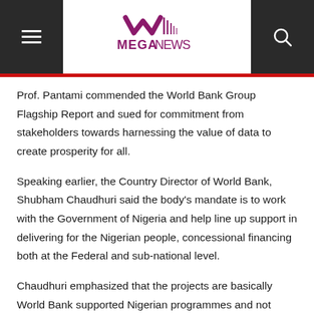[Figure (logo): MegaNews logo with dark header bar, hamburger menu on left, search icon on right, and red stripe below]
Prof. Pantami commended the World Bank Group Flagship Report and sued for commitment from stakeholders towards harnessing the value of data to create prosperity for all.
Speaking earlier, the Country Director of World Bank, Shubham Chaudhuri said the body’s mandate is to work with the Government of Nigeria and help line up support in delivering for the Nigerian people, concessional financing both at the Federal and sub-national level.
Chaudhuri emphasized that the projects are basically World Bank supported Nigerian programmes and not World Bank’s as usually misconstrued in some quarters.